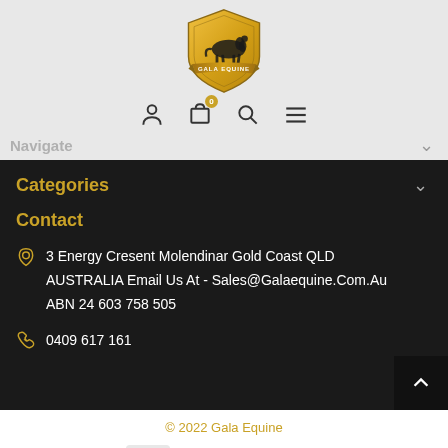[Figure (logo): Gala Equine logo: gold shield with silhouette of horse and rider, text 'GALA EQUINE' on banner]
Navigate
Categories
Contact
3 Energy Cresent Molendinar Gold Coast QLD AUSTRALIA Email Us At - Sales@Galaequine.Com.Au ABN 24 603 758 505
0409 617 161
© 2022 Gala Equine
[Figure (logo): Payment method icons: American Express, MasterCard, PayPal, VISA]